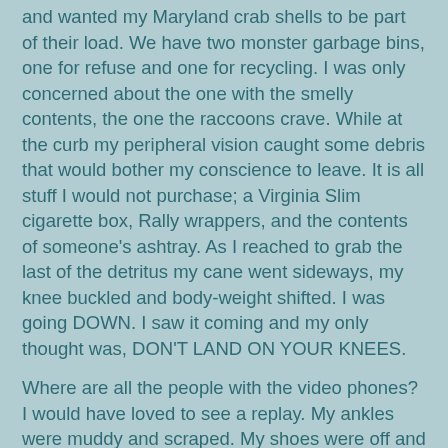and wanted my Maryland crab shells to be part of their load. We have two monster garbage bins, one for refuse and one for recycling. I was only concerned about the one with the smelly contents, the one the raccoons crave. While at the curb my peripheral vision caught some debris that would bother my conscience to leave. It is all stuff I would not purchase; a Virginia Slim cigarette box, Rally wrappers, and the contents of someone's ashtray. As I reached to grab the last of the detritus my cane went sideways, my knee buckled and body-weight shifted. I was going DOWN. I saw it coming and my only thought was, DON'T LAND ON YOUR KNEES.
Where are all the people with the video phones? I would have loved to see a replay. My ankles were muddy and scraped. My shoes were off and I'm sure I mooned someone. I felt certain that during our next snowfall my green sweater would stick out enough that someone would check it out. But help arrived sooner than that. A lady was driving by going to work and saw me pitch forward/sideways, put on her blinkers and came to my rescue. She had to be a caregiver somewhere. You could tell by the way she announced herself. "I saw you fall. How can I help you get up?" She was willing to walk away, but big kindness